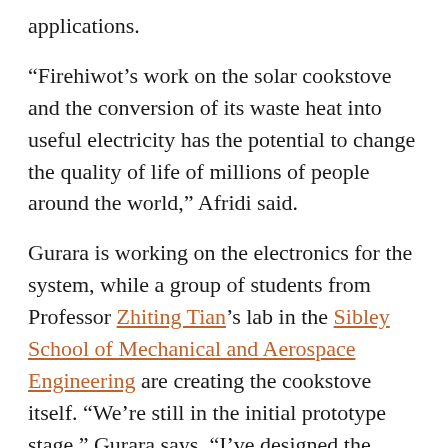applications.
“Firehiwot’s work on the solar cookstove and the conversion of its waste heat into useful electricity has the potential to change the quality of life of millions of people around the world,” Afridi said.
Gurara is working on the electronics for the system, while a group of students from Professor Zhiting Tian’s lab in the Sibley School of Mechanical and Aerospace Engineering are creating the cookstove itself. “We’re still in the initial prototype stage,” Gurara says. “I’ve designed the power converter to accommodate the power requirements of both energy storage and charging and lighting devices. We’ve tested the electronic system, but it still has to be refined to integrate with the cookstove system.”